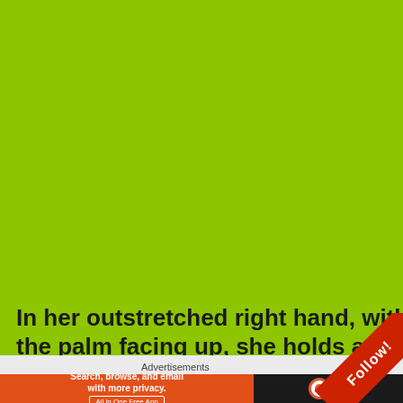[Figure (other): Large lime/yellow-green solid color background taking up most of the page]
In her outstretched right hand, with the palm facing up, she holds a 6' Foot Tall, statue of
Advertisements
[Figure (other): DuckDuckGo advertisement banner: orange section with 'Search, browse, and email with more privacy. All in One Free App' and dark section with DuckDuckGo logo]
[Figure (other): Red diagonal corner ribbon with 'Follow!' text]